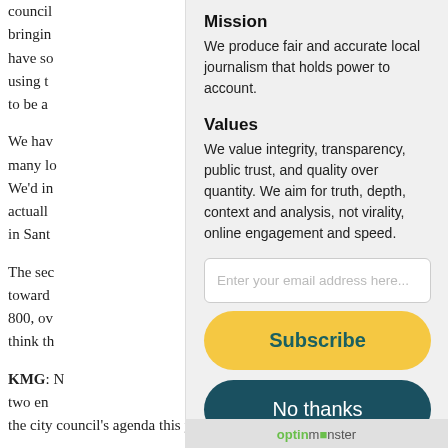council
bringin
have so
using t
to be a
We hav
many lo
We'd in
actuall
in Sant
The sec
toward
800, ov
think th
KMG: N
two en
the city council's agenda this year?
[Figure (screenshot): Newsletter signup modal overlay with Mission and Values sections, email input field, Subscribe button (yellow), No thanks button (dark teal), and OptinMonster branding at bottom]
Mission
We produce fair and accurate local journalism that holds power to account.
Values
We value integrity, transparency, public trust, and quality over quantity. We aim for truth, depth, context and analysis, not virality, online engagement and speed.
Enter your email address here...
Subscribe
No thanks
optinmonster